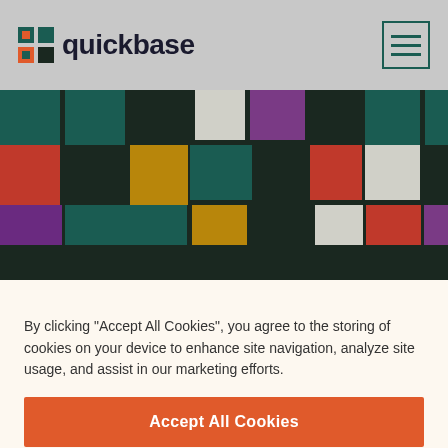[Figure (logo): Quickbase logo with puzzle-piece icon in teal and red, and wordmark 'quickbase' in dark text]
[Figure (illustration): Colorful mosaic/grid pattern of squares in teal, orange-red, gold/yellow, purple, gray, and white on dark green background — Quickbase hero banner]
By clicking "Accept All Cookies", you agree to the storing of cookies on your device to enhance site navigation, analyze site usage, and assist in our marketing efforts.
Accept All Cookies
Reject All
Cookies Settings